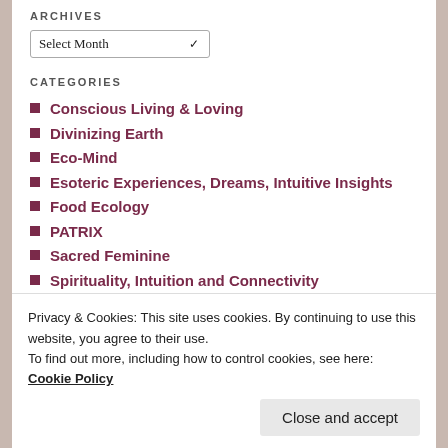ARCHIVES
Select Month
CATEGORIES
Conscious Living & Loving
Divinizing Earth
Eco-Mind
Esoteric Experiences, Dreams, Intuitive Insights
Food Ecology
PATRIX
Sacred Feminine
Spirituality, Intuition and Connectivity
Uncategorized
wellness
Privacy & Cookies: This site uses cookies. By continuing to use this website, you agree to their use.
To find out more, including how to control cookies, see here: Cookie Policy
Close and accept